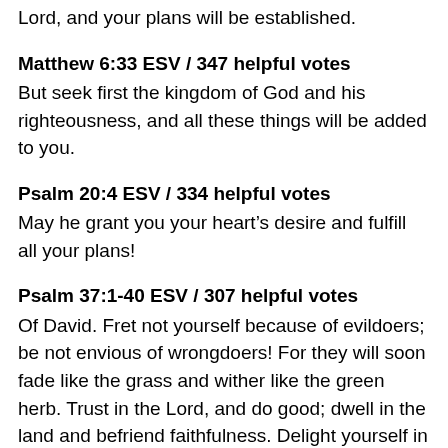Lord, and your plans will be established.
Matthew 6:33 ESV / 347 helpful votes
But seek first the kingdom of God and his righteousness, and all these things will be added to you.
Psalm 20:4 ESV / 334 helpful votes
May he grant you your heart's desire and fulfill all your plans!
Psalm 37:1-40 ESV / 307 helpful votes
Of David. Fret not yourself because of evildoers; be not envious of wrongdoers! For they will soon fade like the grass and wither like the green herb. Trust in the Lord, and do good; dwell in the land and befriend faithfulness. Delight yourself in